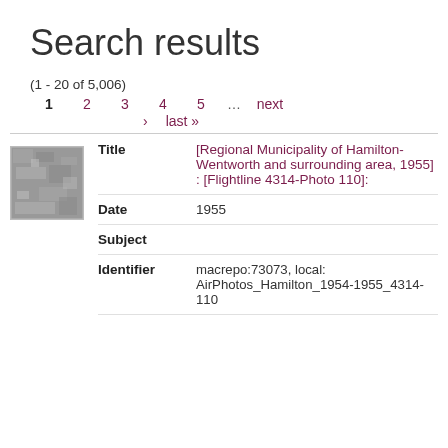Search results
(1 - 20 of 5,006)
1  2  3  4  5  …  next
›  last »
[Figure (photo): Thumbnail aerial photo, grayscale, showing a landscape or terrain.]
| Field | Value |
| --- | --- |
| Title | [Regional Municipality of Hamilton-Wentworth and surrounding area, 1955] : [Flightline 4314-Photo 110]: |
| Date | 1955 |
| Subject |  |
| Identifier | macrepo:73073, local: AirPhotos_Hamilton_1954-1955_4314-110 |